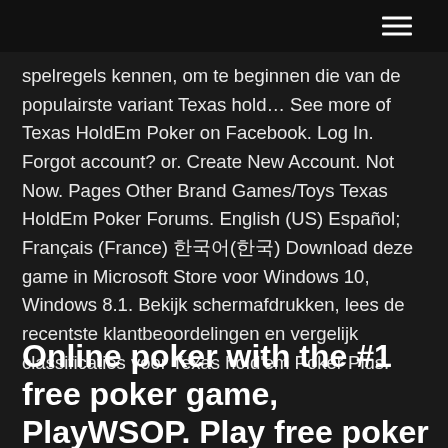spelregels kennen, om te beginnen die van de populairste variant Texas hold… See more of Texas HoldEm Poker on Facebook. Log In. Forgot account? or. Create New Account. Not Now. Pages Other Brand Games/Toys Texas HoldEm Poker Forums. English (US) Español; Français (France) 한국어(한국) Download deze game in Microsoft Store voor Windows 10, Windows 8.1. Bekijk schermafdrukken, lees de recentste klantbeoordelingen en vergelijk classificaties voor Texas hold'em Poker Plus.
Online poker with the #1 free poker game, PlayWSOP. Play free poker online 24/7 with the official World Series of Poker game!